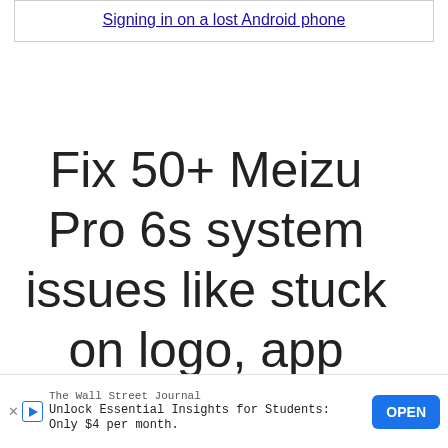Signing in on a lost Android phone
Fix 50+ Meizu Pro 6s system issues like stuck on logo, app crashing, black screen, and so on.
ReiBoot
The Wall Street Journal
Unlock Essential Insights for Students:
Only $4 per month.
OPEN